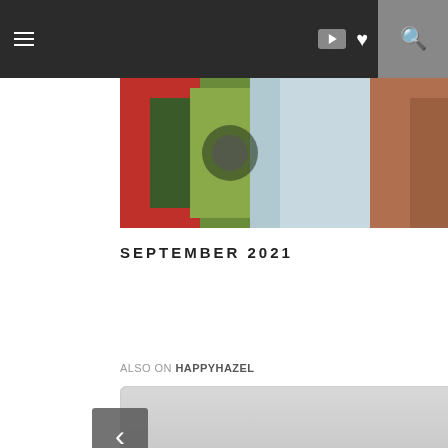Navigation bar with hamburger menu, YouTube icon, heart icon, and search icon
[Figure (photo): Partial hero image showing food and a dog, colorful photo cropped at top]
SEPTEMBER 2021
ALSO ON HAPPYHAZEL
[Figure (screenshot): Card showing post titled HAPPY FRIDAY IN OS... with meta text 'rs ago • 1 comment']
[Figure (screenshot): Card showing post titled 'How to C... Musi f...' with meta text '6 years...']